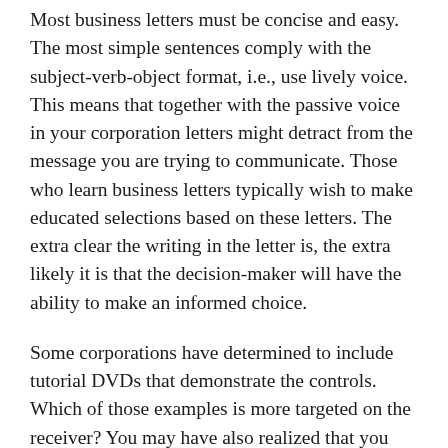Most business letters must be concise and easy. The most simple sentences comply with the subject-verb-object format, i.e., use lively voice. This means that together with the passive voice in your corporation letters might detract from the message you are trying to communicate. Those who learn business letters typically wish to make educated selections based on these letters. The extra clear the writing in the letter is, the extra likely it is that the decision-maker will have the ability to make an informed choice.
Some corporations have determined to include tutorial DVDs that demonstrate the controls. Which of those examples is more targeted on the receiver? You may have also realized that you simply shouldn't place phrases between “to” and a verb, as in “To boldly go…” or “Expect gross sales to greater than double”. Avoiding split infinitives could make for awkward sentences or even change the which means. The old rule you discovered in class about not beginning a sentence